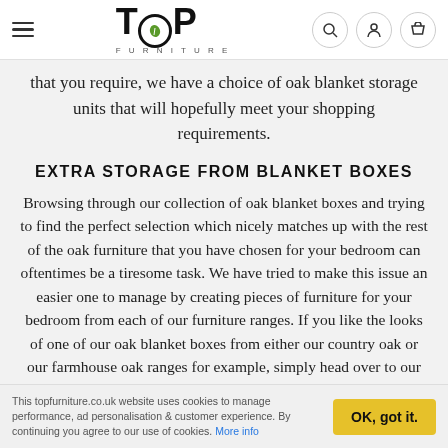[Figure (logo): Top Furniture logo with hamburger menu and nav icons (search, account, basket)]
that you require, we have a choice of oak blanket storage units that will hopefully meet your shopping requirements.
EXTRA STORAGE FROM BLANKET BOXES
Browsing through our collection of oak blanket boxes and trying to find the perfect selection which nicely matches up with the rest of the oak furniture that you have chosen for your bedroom can oftentimes be a tiresome task. We have tried to make this issue an easier one to manage by creating pieces of furniture for your bedroom from each of our furniture ranges. If you like the looks of one of our oak blanket boxes from either our country oak or our farmhouse oak ranges for example, simply head over to our other oak bedroom furniture
This topfurniture.co.uk website uses cookies to manage performance, ad personalisation & customer experience. By continuing you agree to our use of cookies. More info